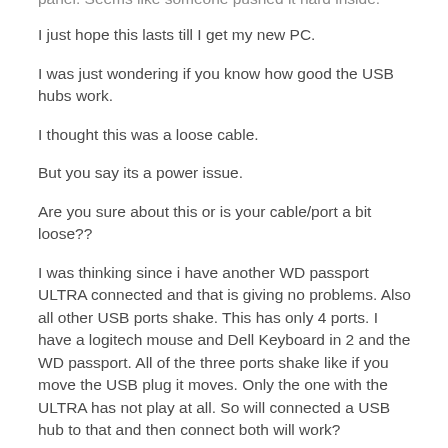panel. Seems like someone pushed it hard inside.
I just hope this lasts till I get my new PC.
I was just wondering if you know how good the USB hubs work.
I thought this was a loose cable.
But you say its a power issue.
Are you sure about this or is your cable/port a bit loose??
I was thinking since i have another WD passport ULTRA connected and that is giving no problems. Also all other USB ports shake. This has only 4 ports. I have a logitech mouse and Dell Keyboard in 2 and the WD passport. All of the three ports shake like if you move the USB plug it moves. Only the one with the ULTRA has not play at all. So will connected a USB hub to that and then connect both will work?
Will the power be enough?
raw raj tarafından 25 Ara 2020